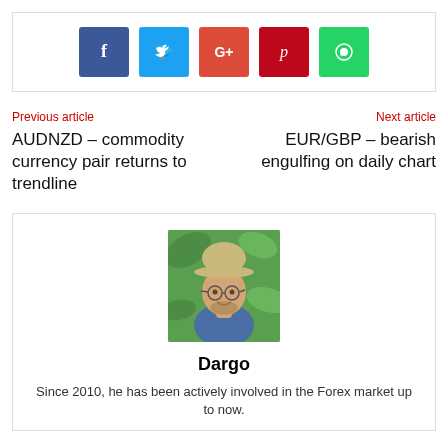[Figure (other): Social media share buttons: Facebook, Twitter, Google+, Pinterest, WhatsApp]
Previous article
AUDNZD – commodity currency pair returns to trendline
Next article
EUR/GBP – bearish engulfing on daily chart
[Figure (photo): Portrait photo of Dargo, a man wearing a hat and glasses, smiling, with green foliage in background]
Dargo
Since 2010, he has been actively involved in the Forex market up to now.